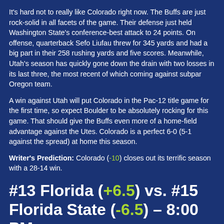It's hard not to really like Colorado right now. The Buffs are just rock-solid in all facets of the game. Their defense just held Washington State's conference-best attack to 24 points. On offense, quarterback Sefo Liufau threw for 345 yards and had a big part in their 258 rushing yards and five scores. Meanwhile, Utah's season has quickly gone down the drain with two losses in its last three, the most recent of which coming against subpar Oregon team.
A win against Utah will put Colorado in the Pac-12 title game for the first time, so expect Boulder to be absolutely rocking for this game. That should give the Buffs even more of a home-field advantage against the Utes. Colorado is a perfect 6-0 (5-1 against the spread) at home this season.
Writer's Prediction: Colorado (-10) closes out its terrific season with a 28-14 win.
#13 Florida (+6.5) vs. #15 Florida State (-6.5) – 8:00 PM